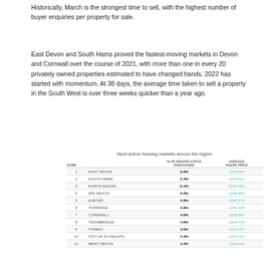Historically, March is the strongest time to sell, with the highest number of buyer enquiries per property for sale.
East Devon and South Hams proved the fastest-moving markets in Devon and Cornwall over the course of 2021, with more than one in every 20 privately owned properties estimated to have changed hands. 2022 has started with momentum. At 38 days, the average time taken to sell a property in the South West is over three weeks quicker than a year ago.
[Figure (table-as-image): Most active housing markets across the region — ranked table with columns: Rank, Area, % of private stock purchased, Average house price]
| RANK |  | % OF PRIVATE STOCK PURCHASED | AVERAGE HOUSE PRICE |
| --- | --- | --- | --- |
| 1 | EAST DEVON | 5.9% | £350,204 |
| 2 | SOUTH HAMS | 5.4% | £418,521 |
| 3 | NORTH DEVON | 5.1% | £331,468 |
| 4 | MID DEVON | 5.0% | £286,823 |
| 5 | EXETER | 4.9% | £297,173 |
| 6 | TORRIDGE | 4.9% | £291,948 |
| 7 | CORNWALL | 4.8% | £298,660 |
| 8 | TEIGNBRIDGE | 4.8% | £300,745 |
| 9 | TORBAY | 4.5% | £241,705 |
| 10 | CITY OF PLYMOUTH | 4.4% | £204,724 |
| 11 | WEST DEVON | 4.4% | £322,440 |